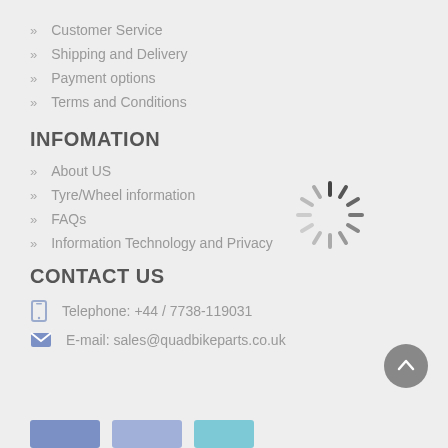Customer Service
Shipping and Delivery
Payment options
Terms and Conditions
INFOMATION
About US
Tyre/Wheel information
FAQs
Information Technology and Privacy
[Figure (infographic): Loading spinner graphic]
CONTACT US
Telephone: +44 / 7738-119031
E-mail: sales@quadbikeparts.co.uk